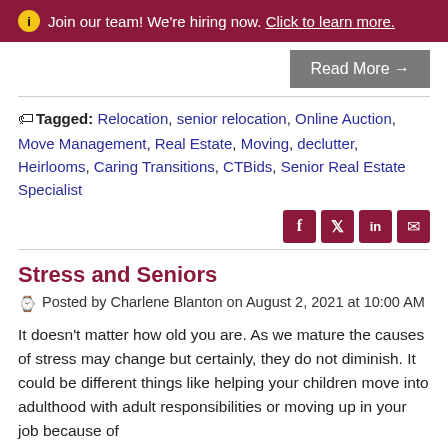ⓘ Join our team! We're hiring now. Click to learn more.
Read More →
Tagged: Relocation, senior relocation, Online Auction, Move Management, Real Estate, Moving, declutter, Heirlooms, Caring Transitions, CTBids, Senior Real Estate Specialist
Social share icons: Facebook, Twitter, LinkedIn, Email
Stress and Seniors
Posted by Charlene Blanton on August 2, 2021 at 10:00 AM
It doesn't matter how old you are. As we mature the causes of stress may change but certainly, they do not diminish. It could be different things like helping your children move into adulthood with adult responsibilities or moving up in your job because of